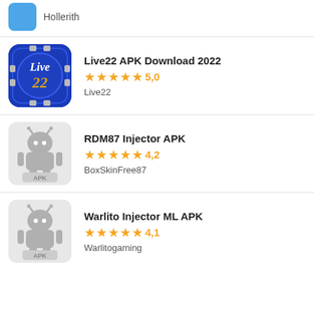Hollerith
Live22 APK Download 2022 · 5,0 · Live22
RDM87 Injector APK · 4,2 · BoxSkinFree87
Warlito Injector ML APK · 4,1 · Warlitogaming